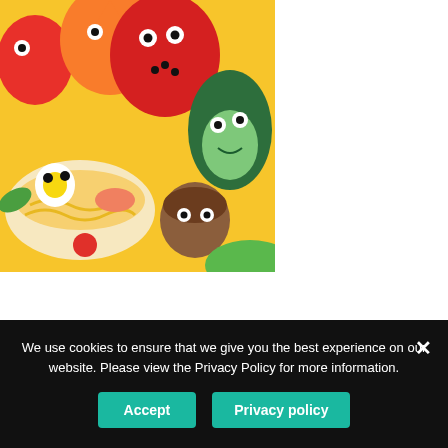[Figure (illustration): Colorful cartoon food characters illustration including ramen bowl with eggs, avocado, mushroom, and other animated food characters on orange/red/yellow background]
H:
....
We use cookies to ensure that we give you the best experience on our website. Please view the Privacy Policy for more information.
Accept
Privacy policy